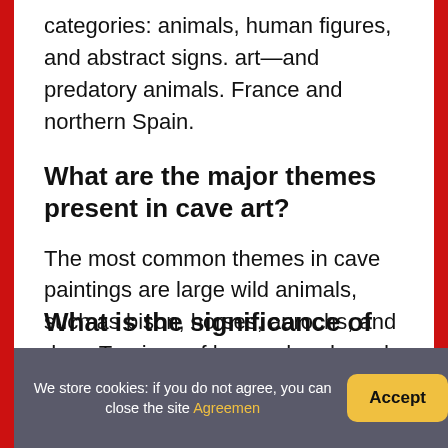categories: animals, human figures, and abstract signs. art—and predatory animals. France and northern Spain.
What are the major themes present in cave art?
The most common themes in cave paintings are large wild animals, such as bison, horses, aurochs, and deer. Tracings of human hands and hand stencils were also very popular, as well as abstract patterns called finger flutings.
We store cookies: if you do not agree, you can close the site Agreemen
Accept